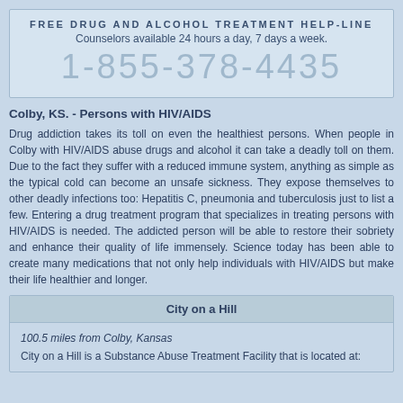FREE DRUG AND ALCOHOL TREATMENT HELP-LINE
Counselors available 24 hours a day, 7 days a week.
1-855-378-4435
Colby, KS. - Persons with HIV/AIDS
Drug addiction takes its toll on even the healthiest persons. When people in Colby with HIV/AIDS abuse drugs and alcohol it can take a deadly toll on them. Due to the fact they suffer with a reduced immune system, anything as simple as the typical cold can become an unsafe sickness. They expose themselves to other deadly infections too: Hepatitis C, pneumonia and tuberculosis just to list a few. Entering a drug treatment program that specializes in treating persons with HIV/AIDS is needed. The addicted person will be able to restore their sobriety and enhance their quality of life immensely. Science today has been able to create many medications that not only help individuals with HIV/AIDS but make their life healthier and longer.
City on a Hill
100.5 miles from Colby, Kansas
City on a Hill is a Substance Abuse Treatment Facility that is located at: